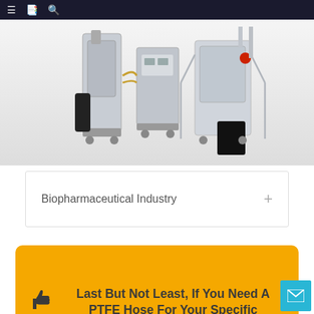≡ 📋 🔍
[Figure (photo): Industrial biopharmaceutical equipment — several large stainless steel processing units/bioreactors on wheels connected by tubes and cables, photographed against a white background.]
Biopharmaceutical Industry +
Last But Not Least, If You Need A PTFE Hose For Your Specific Applications, Please Contact Our Sales Team For Further Instructions.